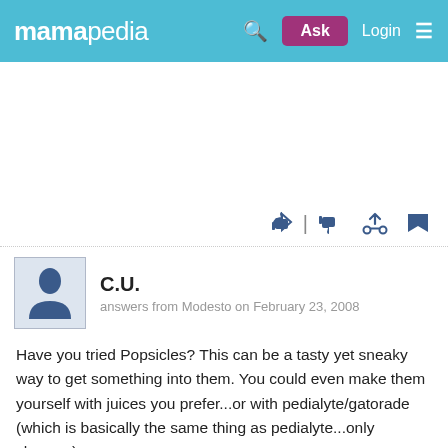mamapedia | Ask | Login
C.U.
answers from Modesto on February 23, 2008
Have you tried Popsicles? This can be a tasty yet sneaky way to get something into them. You could even make them yourself with juices you prefer...or with pedialyte/gatorade (which is basically the same thing as pedialyte...only cheaper).